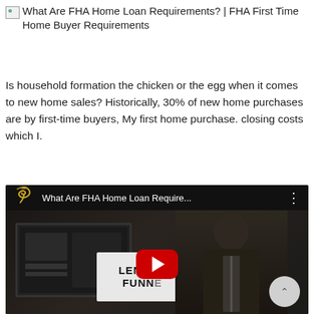What Are FHA Home Loan Requirements? | FHA First Time Home Buyer Requirements
Is household formation the chicken or the egg when it comes to new home sales? Historically, 30% of new home purchases are by first-time buyers, My first home purchase. closing costs which I.
[Figure (screenshot): YouTube video embed showing 'What Are FHA Home Loan Require...' with a tornado logo/icon on the left, dark video frame showing a man in a suit in front of 'LENDER FUNNEL' signage, with a YouTube play button overlay and a scroll-up button in the bottom right corner.]